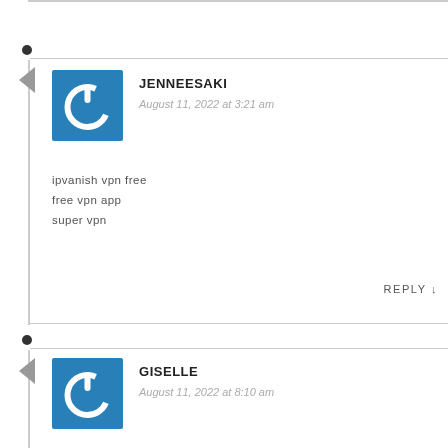JENNEESAKI
August 11, 2022 at 3:21 am
ipvanish vpn free
free vpn app
super vpn
REPLY
GISELLE
August 11, 2022 at 8:10 am
Giselle
balance of nature
Remona
wca.rhwk.l221.com